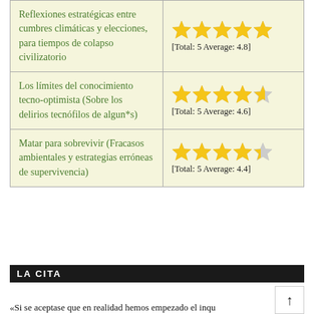| Title | Rating |
| --- | --- |
| Reflexiones estratégicas entre cumbres climáticas y elecciones, para tiempos de colapso civilizatorio | ★★★★★ [Total: 5 Average: 4.8] |
| Los límites del conocimiento tecno-optimista (Sobre los delirios tecnófilos de algun*s) | ★★★★½ [Total: 5 Average: 4.6] |
| Matar para sobrevivir (Fracasos ambientales y estrategias erróneas de supervivencia) | ★★★★½ [Total: 5 Average: 4.4] |
LA CITA
«Si se aceptase que en realidad hemos empezado el inqu